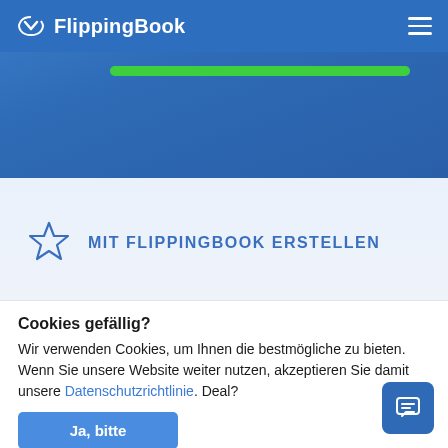[Figure (screenshot): FlippingBook app header with logo, hamburger menu, and green progress bar on blue gradient background]
MIT FLIPPINGBOOK ERSTELLEN
Cookies gefällig?
Wir verwenden Cookies, um Ihnen die bestmögliche zu bieten. Wenn Sie unsere Website weiter nutzen, akzeptieren Sie damit unsere Datenschutzrichtlinie. Deal?
Ja, bitte